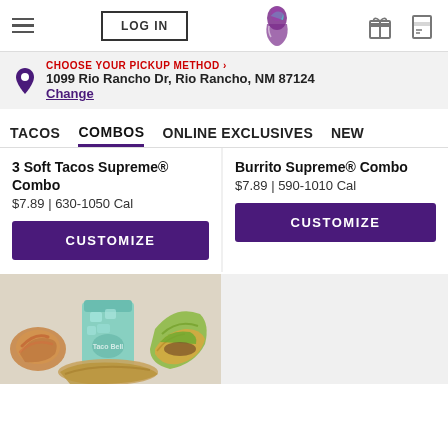LOG IN | Taco Bell | Gift | Card
CHOOSE YOUR PICKUP METHOD › 
1099 Rio Rancho Dr, Rio Rancho, NM 87124
Change
TACOS
COMBOS
ONLINE EXCLUSIVES
NEW
3 Soft Tacos Supreme® Combo
$7.89 | 630-1050 Cal
CUSTOMIZE
Burrito Supreme® Combo
$7.89 | 590-1010 Cal
CUSTOMIZE
[Figure (photo): Taco Bell combo meal with a taco, burrito, cinnabon delights, and a green drink]